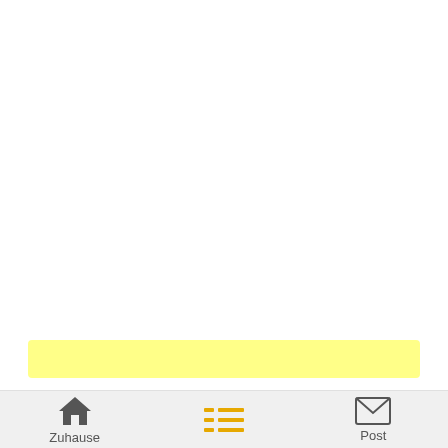[Figure (other): Yellow highlighted bar in the middle-lower area of the main content region]
Zuhause  [list icon]  Post
Zuhause
Post